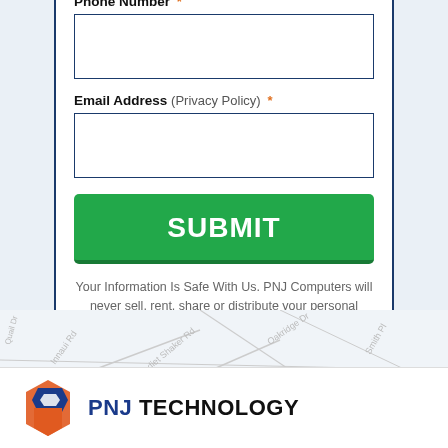Phone Number *
Email Address (Privacy Policy) *
SUBMIT
Your Information Is Safe With Us. PNJ Computers will never sell, rent, share or distribute your personal details with anyone.
[Figure (map): Partial street map background with road names visible]
[Figure (logo): PNJ Technology logo with blue and orange hexagon icon and bold text 'PNJ TECHNOLOGY']